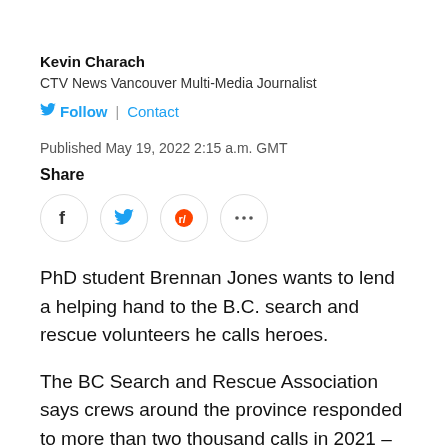Kevin Charach
CTV News Vancouver Multi-Media Journalist
Follow | Contact
Published May 19, 2022 2:15 a.m. GMT
Share
[Figure (infographic): Social share buttons: Facebook, Twitter, Reddit, and more (ellipsis)]
PhD student Brennan Jones wants to lend a helping hand to the B.C. search and rescue volunteers he calls heroes.
The BC Search and Rescue Association says crews around the province responded to more than two thousand calls in 2021 – the Province's highest total since the BCSARA